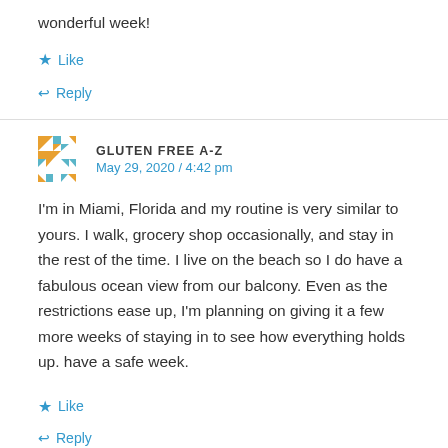wonderful week!
★ Like
↩ Reply
GLUTEN FREE A-Z
May 29, 2020 / 4:42 pm
I'm in Miami, Florida and my routine is very similar to yours. I walk, grocery shop occasionally, and stay in the rest of the time. I live on the beach so I do have a fabulous ocean view from our balcony. Even as the restrictions ease up, I'm planning on giving it a few more weeks of staying in to see how everything holds up. have a safe week.
★ Like
↩ Reply